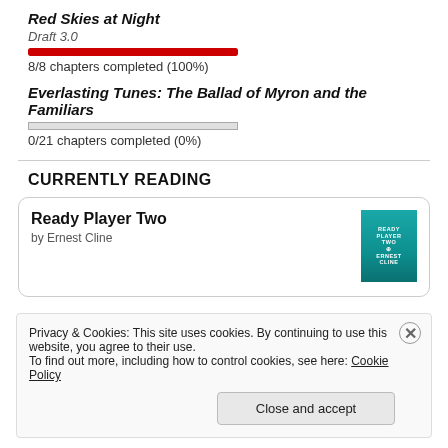Red Skies at Night
Draft 3.0
[Figure (other): Red progress bar fully filled (100%)]
8/8 chapters completed (100%)
Everlasting Tunes: The Ballad of Myron and the Familiars
[Figure (other): Empty progress bar (0%)]
0/21 chapters completed (0%)
CURRENTLY READING
Ready Player Two
by Ernest Cline
Privacy & Cookies: This site uses cookies. By continuing to use this website, you agree to their use.
To find out more, including how to control cookies, see here: Cookie Policy
Close and accept